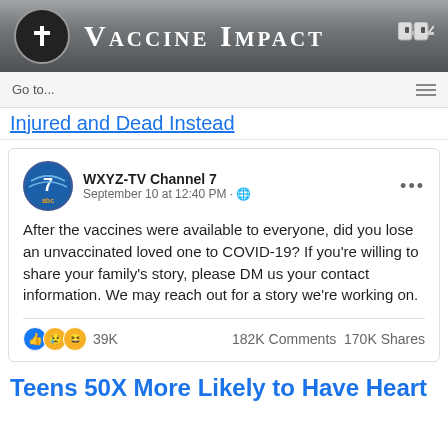[Figure (logo): Vaccine Impact website header banner with cross icon, binoculars icon, and logo text]
Go to...
Injured and Dead Instead
[Figure (screenshot): Facebook post by WXYZ-TV Channel 7 on September 10 at 12:40 PM asking if viewers lost an unvaccinated loved one to COVID-19 and requesting DM with contact information for a story. Post has 39K reactions, 182K Comments, 170K Shares.]
After the vaccines were available to everyone, did you lose an unvaccinated loved one to COVID-19? If you're willing to share your family's story, please DM us your contact information. We may reach out for a story we're working on.
39K   182K Comments  170K Shares
Teens 50X More Likely to Have Heart